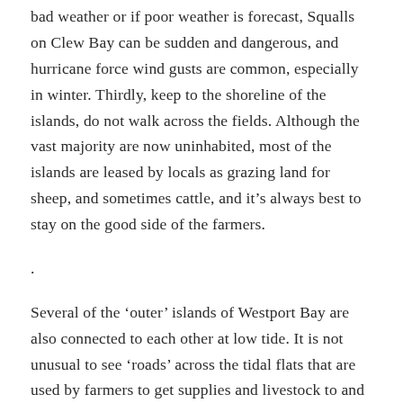bad weather or if poor weather is forecast, Squalls on Clew Bay can be sudden and dangerous, and hurricane force wind gusts are common, especially in winter. Thirdly, keep to the shoreline of the islands, do not walk across the fields. Although the vast majority are now uninhabited, most of the islands are leased by locals as grazing land for sheep, and sometimes cattle, and it's always best to stay on the good side of the farmers.
.
Several of the 'outer' islands of Westport Bay are also connected to each other at low tide. It is not unusual to see 'roads' across the tidal flats that are used by farmers to get supplies and livestock to and from these seemingly remote places. Although there are now only five or six islands inhabited year round, prior to the